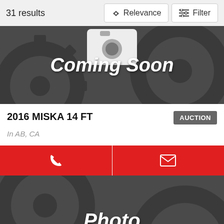31 results
Relevance
Filter
[Figure (screenshot): Coming Soon placeholder image with gear icons on dark gray background]
2016 MISKA 14 FT
AUCTION
In AB, CA
[Figure (screenshot): Phone and email contact buttons in red]
[Figure (screenshot): Photo placeholder image with gear icons and camera icon on dark gray background, text: Photo]